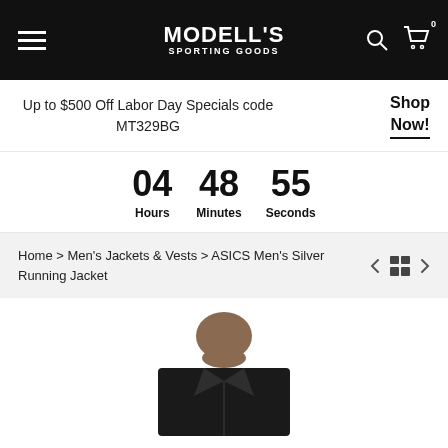MODELL'S SPORTING GOODS
Up to $500 Off Labor Day Specials code MT329BG
Shop Now!
04 Hours  48 Minutes  55 Seconds
Home > Men's Jackets & Vests > ASICS Men's Silver Running Jacket
[Figure (photo): Man wearing ASICS Men's Silver Running Jacket, cropped view showing face and upper torso]